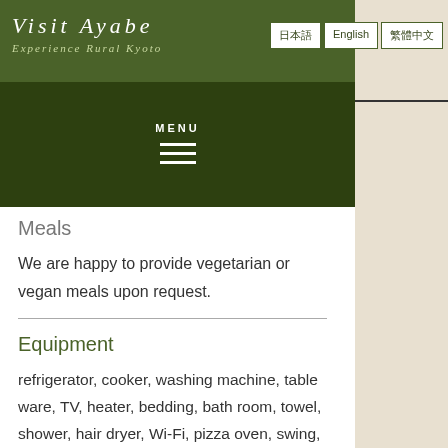Visit Ayabe - Experience Rural Kyoto
Meals
We are happy to provide vegetarian or vegan meals upon request.
Equipment
refrigerator, cooker, washing machine, table ware, TV, heater, bedding, bath room, towel, shower, hair dryer, Wi-Fi, pizza oven, swing, wood-burning stove
Available Experience Programs
Art therapy experience, Counseling and work shop from life coach, cooking class, and more